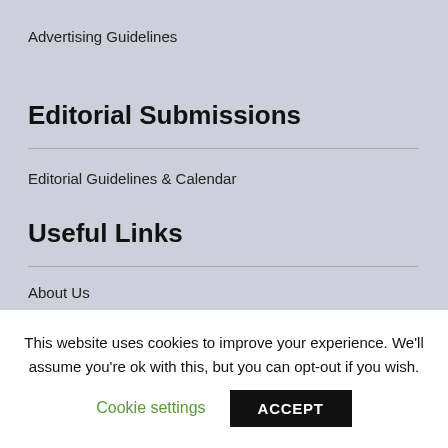Advertising Guidelines
Editorial Submissions
Editorial Guidelines & Calendar
Useful Links
About Us
Privacy Poli...
This website uses cookies to improve your experience. We'll assume you're ok with this, but you can opt-out if you wish.
Cookie settings
ACCEPT